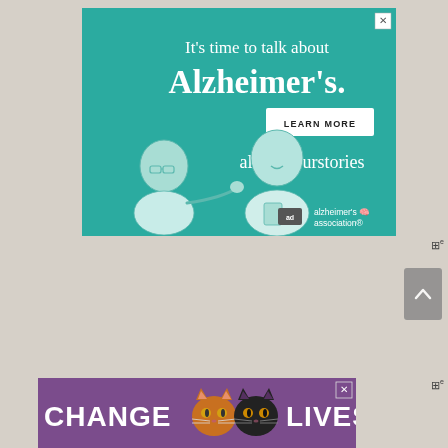[Figure (illustration): Alzheimer's Association advertisement banner with teal background. Text reads 'It's time to talk about Alzheimer's.' with a 'LEARN MORE' button and URL 'alz.org/ourstories'. Features an illustration of two people (elderly man and younger person), and the Alzheimer's Association logo at the bottom right. Close button (X) at top right.]
[Figure (illustration): Purple banner advertisement with white text 'CHANGE LIVES' in large bold letters with two cat face illustrations between the words. Close button (X) at top right.]